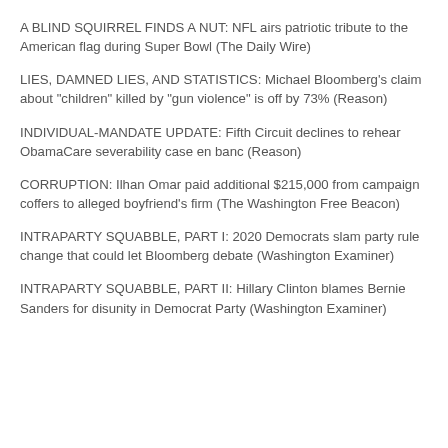A BLIND SQUIRREL FINDS A NUT: NFL airs patriotic tribute to the American flag during Super Bowl (The Daily Wire)
LIES, DAMNED LIES, AND STATISTICS: Michael Bloomberg's claim about "children" killed by "gun violence" is off by 73% (Reason)
INDIVIDUAL-MANDATE UPDATE: Fifth Circuit declines to rehear ObamaCare severability case en banc (Reason)
CORRUPTION: Ilhan Omar paid additional $215,000 from campaign coffers to alleged boyfriend's firm (The Washington Free Beacon)
INTRAPARTY SQUABBLE, PART I: 2020 Democrats slam party rule change that could let Bloomberg debate (Washington Examiner)
INTRAPARTY SQUABBLE, PART II: Hillary Clinton blames Bernie Sanders for disunity in Democrat Party (Washington Examiner)